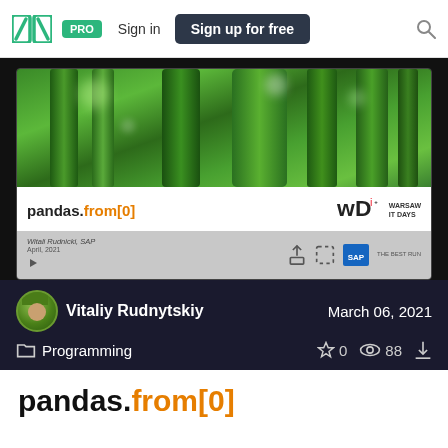PRO | Sign in | Sign up for free
[Figure (screenshot): SlideShare presentation card showing 'pandas.from[0]' with bamboo background image, author Witali Rudnicki SAP, April 2021, Warsaw IT Days logo, and SAP logo]
Vitaliy Rudnytskiy   March 06, 2021
Programming   ☆ 0  👁 88  ↓
pandas.from[0]